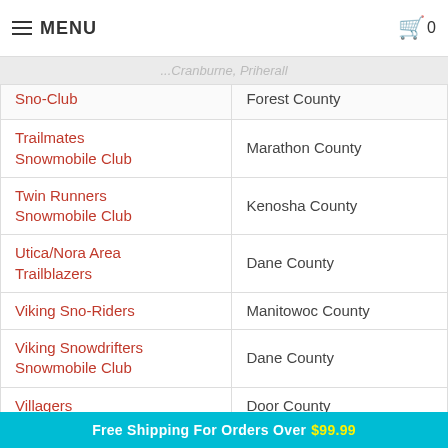MENU | cart 0
...Cranburne, Priherall
| Club Name | County |
| --- | --- |
| Sno-Club | Forest County |
| Trailmates Snowmobile Club | Marathon County |
| Twin Runners Snowmobile Club | Kenosha County |
| Utica/Nora Area Trailblazers | Dane County |
| Viking Sno-Riders | Manitowoc County |
| Viking Snowdrifters Snowmobile Club | Dane County |
| Villagers | Door County |
| Waubesa Snow Birds | Dane County |
| Waunakee Winter Wanderers | Dane County |
Free Shipping For Orders Over $99.99